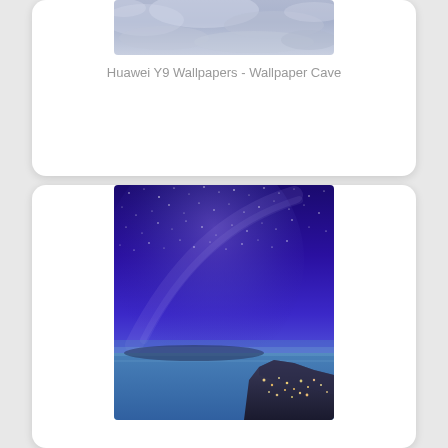[Figure (photo): Partial view of a cloudy purple-blue sky wallpaper image for Huawei Y9]
Huawei Y9 Wallpapers - Wallpaper Cave
[Figure (photo): Starry night sky Milky Way over Santorini cliffside town with blue ocean, wallpaper image]